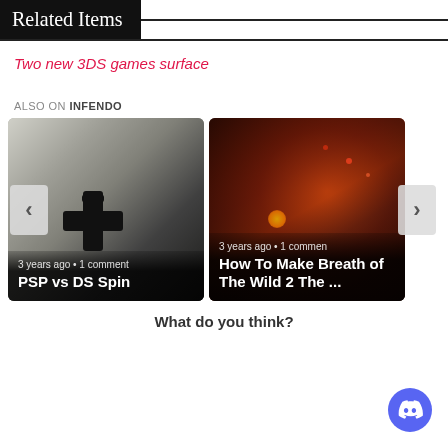Related Items
Two new 3DS games surface
ALSO ON INFENDO
[Figure (photo): Two article cards: left card shows a Nintendo DS with d-pad close-up (PSP vs DS Spin, 3 years ago, 1 comment); right card shows a dark atmospheric scene (How To Make Breath of The Wild 2 The ..., 3 years ago, 1 comment). Navigation arrows on left and right.]
What do you think?